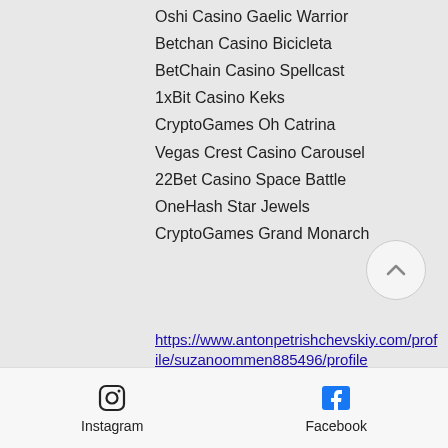Oshi Casino Gaelic Warrior
Betchan Casino Bicicleta
BetChain Casino Spellcast
1xBit Casino Keks
CryptoGames Oh Catrina
Vegas Crest Casino Carousel
22Bet Casino Space Battle
OneHash Star Jewels
CryptoGames Grand Monarch
https://www.antonpetrishchevskiy.com/profile/suzanoommen885496/profile https://www.info.intelia.co.za/profile/ericcrass17717092/profile https://www.islandliferehab.com/profile/eddiequimby8653748/profile https://www.roadtripsandwinesips.com/profile/thanhthoburn13045496/profile
Instagram  Facebook